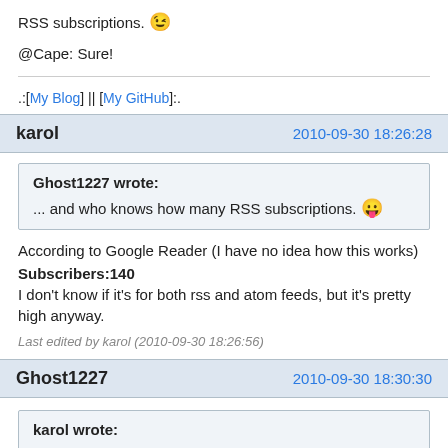RSS subscriptions. 😉
@Cape: Sure!
.:[My Blog] || [My GitHub]:.
karol   2010-09-30 18:26:28
Ghost1227 wrote:
... and who knows how many RSS subscriptions. 😜
According to Google Reader (I have no idea how this works)
Subscribers:140
I don't know if it's for both rss and atom feeds, but it's pretty high anyway.
Last edited by karol (2010-09-30 18:26:56)
Ghost1227   2010-09-30 18:30:30
karol wrote: